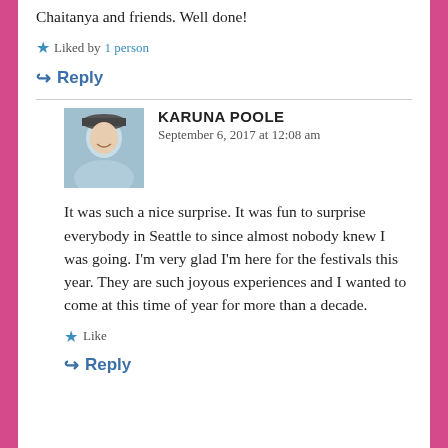Chaitanya and friends. Well done!
Liked by 1 person
Reply
KARUNA POOLE
September 6, 2017 at 12:08 am
[Figure (photo): Avatar photo of Karuna Poole, a smiling woman wearing a hat outdoors in winter]
It was such a nice surprise. It was fun to surprise everybody in Seattle to since almost nobody knew I was going. I'm very glad I'm here for the festivals this year. They are such joyous experiences and I wanted to come at this time of year for more than a decade.
Like
Reply